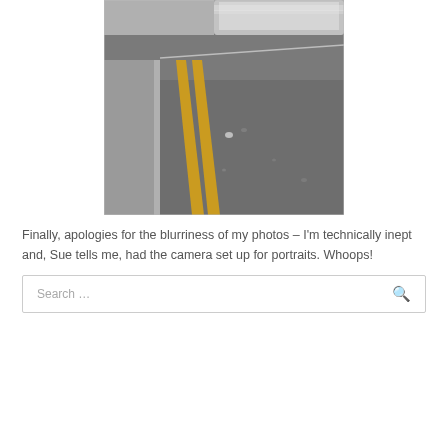[Figure (photo): A blurry photo of a road/street with double yellow lines on the left side and a pavement/curb. A vehicle (car or van) is partially visible and blurred at the top of the image.]
Finally, apologies for the blurriness of my photos – I'm technically inept and, Sue tells me, had the camera set up for portraits. Whoops!